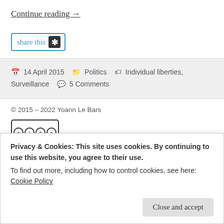Continue reading →
[Figure (other): Share this button with star icon]
14 April 2015   Politics   Individual liberties, Surveillance   5 Comments
© 2015 – 2022 Yoann Le Bars
[Figure (logo): Creative Commons BY NC ND license badge]
Unless contrary mentioned, contents on this website are licensed under a Creative Commons Attribution-NonCommercial-
Privacy & Cookies: This site uses cookies. By continuing to use this website, you agree to their use.
To find out more, including how to control cookies, see here: Cookie Policy
Close and accept